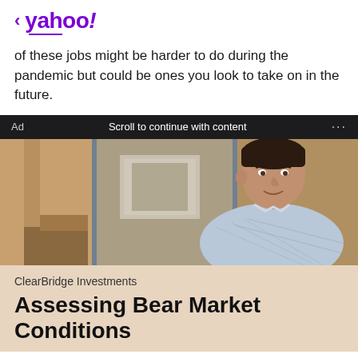< yahoo!
of these jobs might be harder to do during the pandemic but could be ones you look to take on in the future.
Ad   Scroll to continue with content   ...
[Figure (photo): A middle-aged man in a light blue checkered shirt, standing in front of a glass partition in an office environment with wooden furniture visible in the background.]
ClearBridge Investments
Assessing Bear Market Conditions